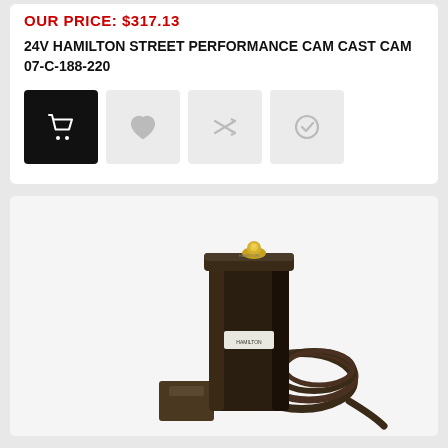OUR PRICE: $317.13
24V HAMILTON STREET PERFORMANCE CAM CAST CAM 07-C-188-220
[Figure (photo): Product photo of a black cylindrical camshaft sensor/component with gold connector on top, cable/wire coiled beside it, and a bracket mount, displayed on a white background]